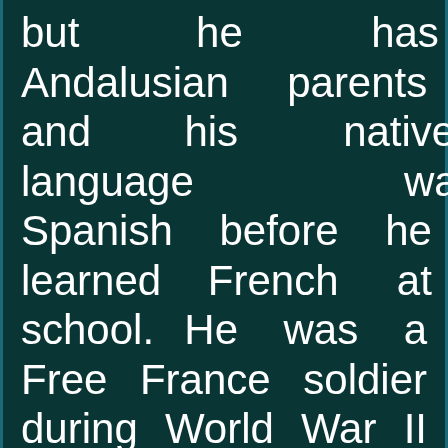but he has Andalusian parents and his native language was Spanish before he learned French at school. He was a Free France soldier during World War II and since then he